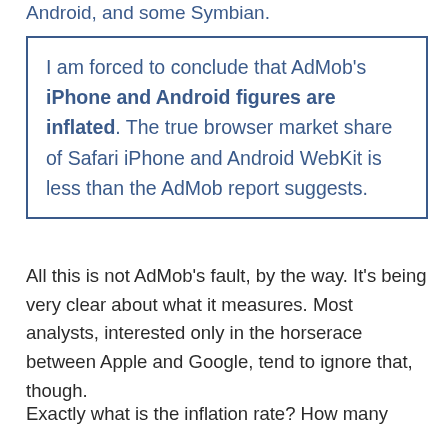Android, and some Symbian.
I am forced to conclude that AdMob's iPhone and Android figures are inflated. The true browser market share of Safari iPhone and Android WebKit is less than the AdMob report suggests.
All this is not AdMob's fault, by the way. It's being very clear about what it measures. Most analysts, interested only in the horserace between Apple and Google, tend to ignore that, though.
Exactly what is the inflation rate? How many